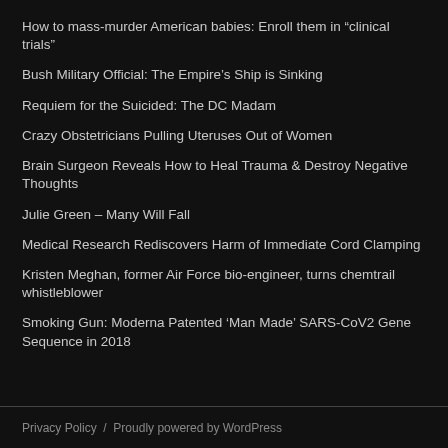How to mass-murder American babies: Enroll them in “clinical trials”
Bush Military Official: The Empire's Ship is Sinking
Requiem for the Suicided: The DC Madam
Crazy Obstetricians Pulling Uteruses Out of Women
Brain Surgeon Reveals How to Heal Trauma & Destroy Negative Thoughts
Julie Green – Many Will Fall
Medical Research Rediscovers Harm of Immediate Cord Clamping
Kristen Meghan, former Air Force bio-engineer, turns chemtrail whistleblower
Smoking Gun: Moderna Patented ‘Man Made’ SARS-CoV2 Gene Sequence in 2018
Privacy Policy  /  Proudly powered by WordPress